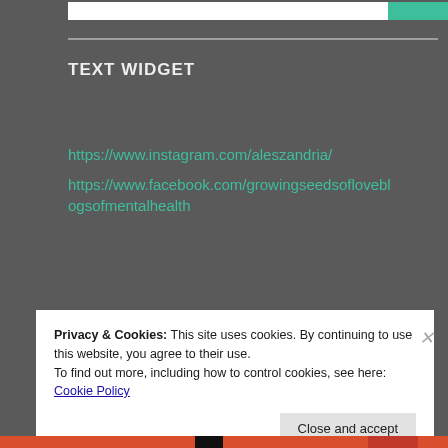TEXT WIDGET
https://www.instagram.com/aleszandria/

https://www.facebook.com/growingseedsoflove blogsofmentalhealth
Privacy & Cookies: This site uses cookies. By continuing to use this website, you agree to their use.
To find out more, including how to control cookies, see here: Cookie Policy
Close and accept